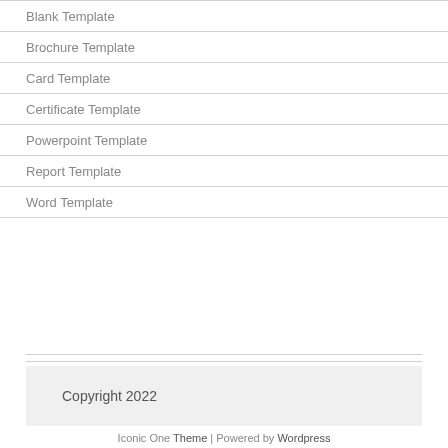Blank Template
Brochure Template
Card Template
Certificate Template
Powerpoint Template
Report Template
Word Template
Copyright 2022
Iconic One Theme | Powered by Wordpress